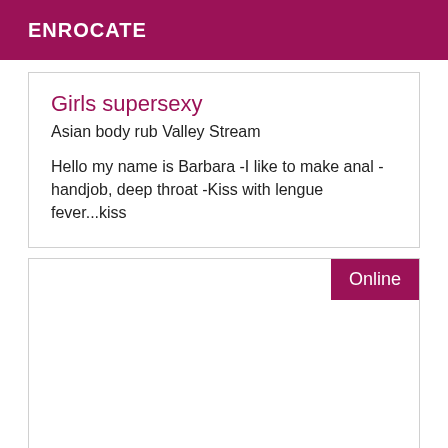ENROCATE
Girls supersexy
Asian body rub Valley Stream
Hello my name is Barbara -I like to make anal -handjob, deep throat -Kiss with lengue fever...kiss
Online